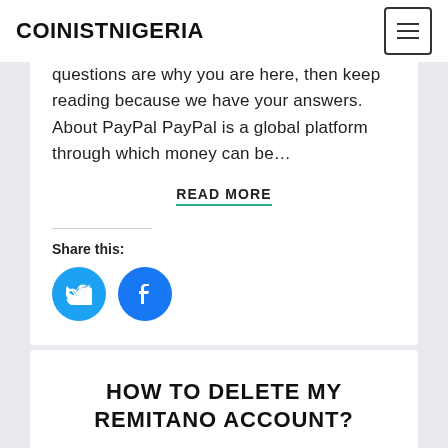COINISTNIGERIA
questions are why you are here, then keep reading because we have your answers. About PayPal PayPal is a global platform through which money can be…
READ MORE
Share this:
[Figure (illustration): Twitter and Facebook share buttons as blue circular icons]
HOW TO DELETE MY REMITANO ACCOUNT?